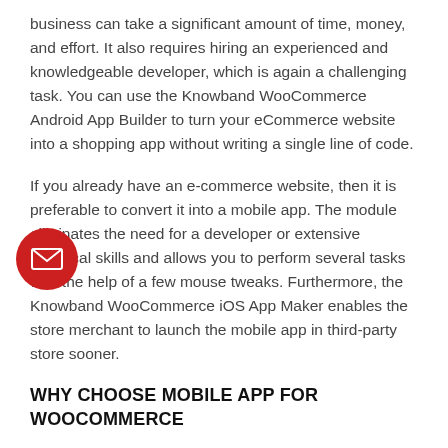business can take a significant amount of time, money, and effort. It also requires hiring an experienced and knowledgeable developer, which is again a challenging task. You can use the Knowband WooCommerce Android App Builder to turn your eCommerce website into a shopping app without writing a single line of code.
If you already have an e-commerce website, then it is preferable to convert it into a mobile app. The module eliminates the need for a developer or extensive technical skills and allows you to perform several tasks with the help of a few mouse tweaks. Furthermore, the Knowband WooCommerce iOS App Maker enables the store merchant to launch the mobile app in third-party store sooner.
[Figure (illustration): Red circular button with envelope/email icon in white]
WHY CHOOSE MOBILE APP FOR WOOCOMMERCE
The module is created by considering all the important features in mind and is also updated regularly. Some of the helpful features are there, like push notifications and an offline support option. The module also consists of a one-click solution that allows the customers to log in and check out from the app with a